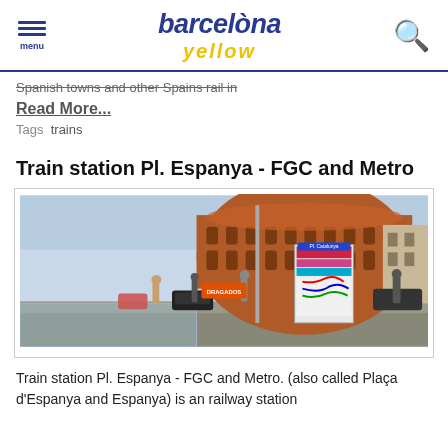barcelòna yellow — menu, search
Spanish towns and other Spains rail in
Read More...
Tags  trains
Train station Pl. Espanya - FGC and Metro
[Figure (photo): Street-level photo of Pl. Espanya station entrance with a transit map kiosk, Barcelona bullring (Arenes) in background, pedestrians, cars, sunny day.]
Train station Pl. Espanya - FGC and Metro. (also called Plaça d'Espanya and Espanya) is an railway station